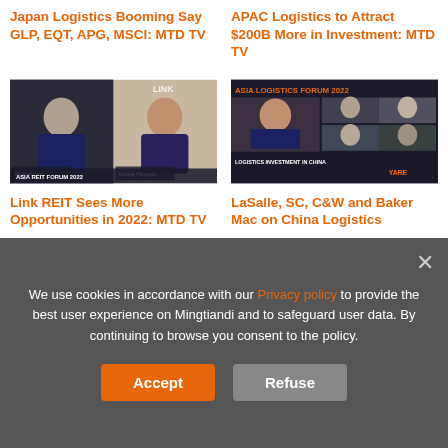Japan Logistics Booming Say GLP, EQT, APG, MSCI: MTD TV
APAC Logistics to Attract $200B More in Investment: MTD TV
[Figure (photo): Two men on video panel discussion with LINK branding — Asia REIT Forum 2022]
[Figure (photo): Video panel Asia Logistics Forum 2022 — Logistics Investment in China, YARDI sponsored]
Link REIT Sees More Opportunities in 2022: MTD TV
LaSalle, SC, C&W and Baker Mac on China Logistics
We use cookies in accordance with our Privacy policy to provide the best user experience on Mingtiandi and to safeguard user data. By continuing to browse you consent to the policy.